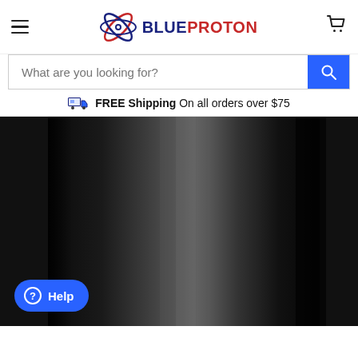BlueProton – navigation header with hamburger menu, logo, and cart icon
What are you looking for?
FREE Shipping On all orders over $75
[Figure (photo): Close-up photo of a black cylindrical product (likely a tumbler or bottle) with a glossy gradient surface, dark background.]
Help